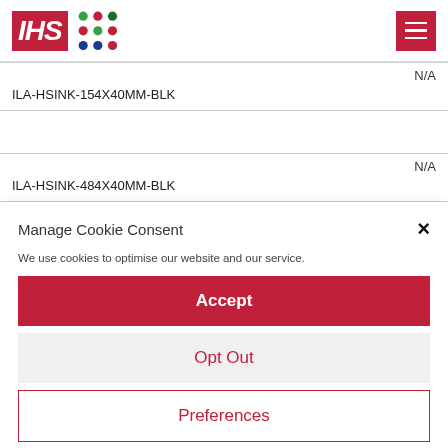IHS logo with navigation menu
| N/A | ILA-HSINK-154X40MM-BLK |
|  |  |
| N/A | ILA-HSINK-484X40MM-BLK |
Manage Cookie Consent
We use cookies to optimise our website and our service.
Accept
Opt Out
Preferences